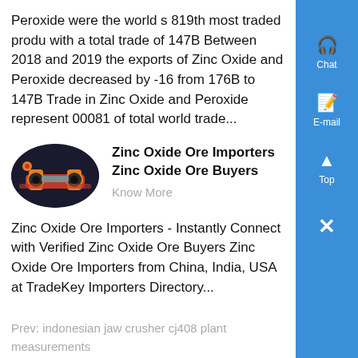Peroxide were the world s 819th most traded produ with a total trade of 147B Between 2018 and 2019 the exports of Zinc Oxide and Peroxide decreased by -16 from 176B to 147B Trade in Zinc Oxide and Peroxide represent 00081 of total world trade...
[Figure (photo): Oval-shaped photo of industrial machinery (mill/crusher equipment) in orange and black on a dark background]
Zinc Oxide Ore Importers Zinc Oxide Ore Buyers
Know More
Zinc Oxide Ore Importers - Instantly Connect with Verified Zinc Oxide Ore Buyers Zinc Oxide Ore Importers from China, India, USA at TradeKey Importers Directory...
Prev: indonesian jaw crusher cj408 plant measurements
Next: kolkata ball mill manufacturers in rajapalayam